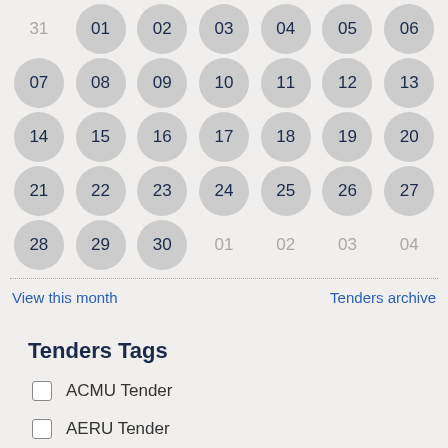[Figure (other): Calendar grid showing days 31, 01-30 and overflow dates 01-04, with circular day buttons. Days 31 in previous month and 01-04 in next month shown faded.]
View this month
Tenders archive
Tenders Tags
ACMU Tender
AERU Tender
ASD Tender